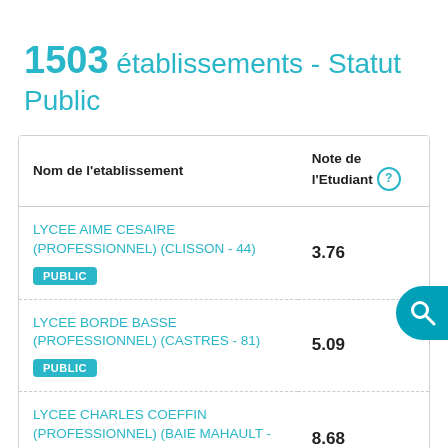1503 établissements - Statut Public
| Nom de l'etablissement | Note de l'Etudiant ? |
| --- | --- |
| LYCEE AIME CESAIRE (PROFESSIONNEL) (CLISSON - 44) PUBLIC | 3.76 |
| LYCEE BORDE BASSE (PROFESSIONNEL) (CASTRES - 81) PUBLIC | 5.09 |
| LYCEE CHARLES COEFFIN (PROFESSIONNEL) (BAIE MAHAULT - 971) | 8.68 |